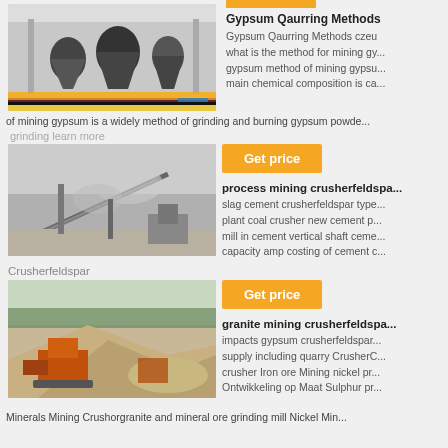[Figure (photo): Industrial machinery and cone crushers inside a large factory/warehouse building]
Gypsum Qaurring Methods
Gypsum Qaurring Methods czeu what is the method for mining gy... gypsum method of mining gypsu... main chemical composition is ca...
of mining gypsum is a widely method of grinding and burning gypsum powde...
grinding learn more
[Figure (photo): Outdoor mining/crushing operation with conveyors and dust in the air]
[Figure (photo): Get price button orange]
process mining crusherfeldspa...
slag cement crusherfeldspar type... plant coal crusher new cement p... mill in cement vertical shaft ceme... capacity amp costing of cement c...
Crusherfeldspar
[Figure (photo): Get price button orange]
granite mining crusherfeldspa...
[Figure (photo): Outdoor rock crushing and quarry operation with orange machinery and piles of gravel]
impacts gypsum crusherfeldspar... supply including quarry CrusherC... crusher Iron ore Mining nickel pr... Ontwikkeling op Maat Sulphur pr...
Minerals Mining Crushorgranite and mineral ore grinding mill Nickel Min...